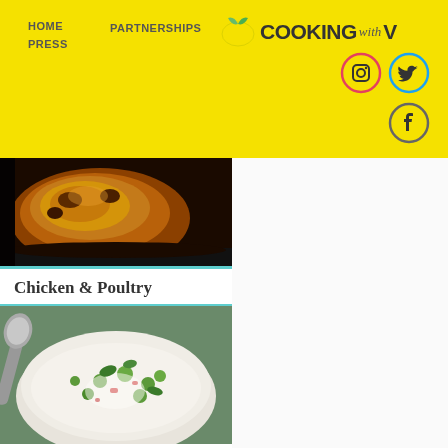HOME   PARTNERSHIPS   COOKING with V
[Figure (photo): Roasted chicken or poultry, golden-brown, close-up food photography]
Chicken & Poultry
[Figure (photo): Bowl of rice salad with peas, vegetables and a spoon, close-up food photography]